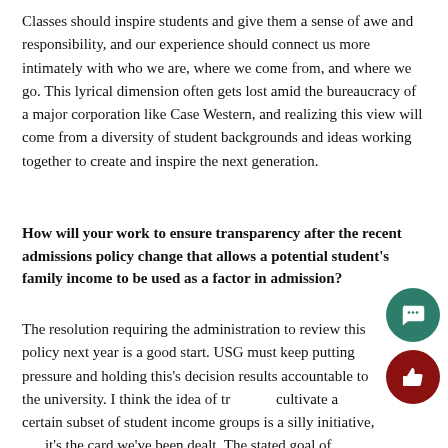Classes should inspire students and give them a sense of awe and responsibility, and our experience should connect us more intimately with who we are, where we come from, and where we go. This lyrical dimension often gets lost amid the bureaucracy of a major corporation like Case Western, and realizing this view will come from a diversity of student backgrounds and ideas working together to create and inspire the next generation.
How will your work to ensure transparency after the recent admissions policy change that allows a potential student's family income to be used as a factor in admission?
The resolution requiring the administration to review this policy next year is a good start. USG must keep putting pressure and holding this's decision results accountable to the university. I think the idea of trying to cultivate a certain subset of student income groups is a silly initiative, but it's the card we've been dealt. The stated goal of including more low-income students is admirable, but bringing in more high-income students and squeezing out those in the middle, I think, makes for a...